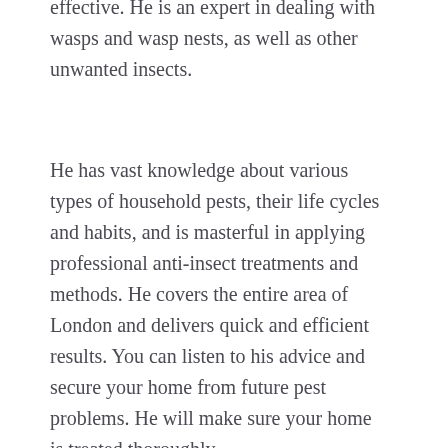effective. He is an expert in dealing with wasps and wasp nests, as well as other unwanted insects.
He has vast knowledge about various types of household pests, their life cycles and habits, and is masterful in applying professional anti-insect treatments and methods. He covers the entire area of London and delivers quick and efficient results. You can listen to his advice and secure your home from future pest problems. He will make sure your home is treated thoroughly.